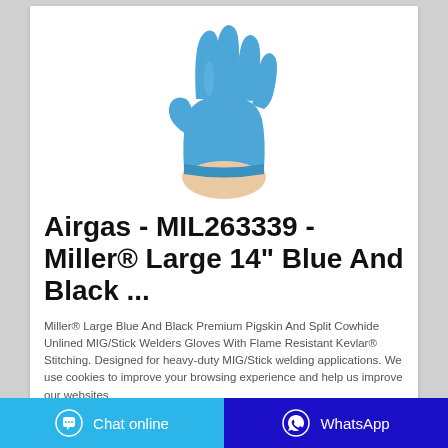[Figure (photo): A hand wearing a blue nitrile/rubber glove, fingers spread upward, against a white background.]
Airgas - MIL263339 - Miller® Large 14" Blue And Black ...
Miller® Large Blue And Black Premium Pigskin And Split Cowhide Unlined MIG/Stick Welders Gloves With Flame Resistant Kevlar® Stitching. Designed for heavy-duty MIG/Stick welding applications. We use cookies to improve your browsing experience and help us improve our websites.